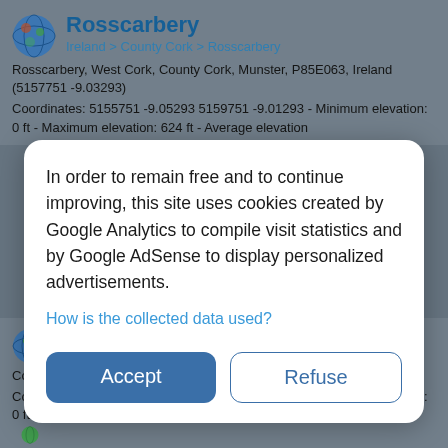Rosscarbery
Ireland > County Cork > Rosscarbery
Rosscarbery, West Cork, County Cork, Munster, P85E063, Ireland (5157751 -9.03293)
Coordinates: 5155751 -9.05293 5159751 -9.01293 - Minimum elevation: 0 ft - Maximum elevation: 624 ft - Average elevation
In order to remain free and to continue improving, this site uses cookies created by Google Analytics to compile visit statistics and by Google AdSense to display personalized advertisements.
How is the collected data used?
Accept
Refuse
Ireland > County Tipperary
County Tipperary, Munster, Ireland (52.68477 -789808)
Coordinates: 52.20200 -8.48029 5316762 -737186 - Minimum elevation: 0 ft - Maximum elevation: 2,999 ft - Average elevation: 318 ft